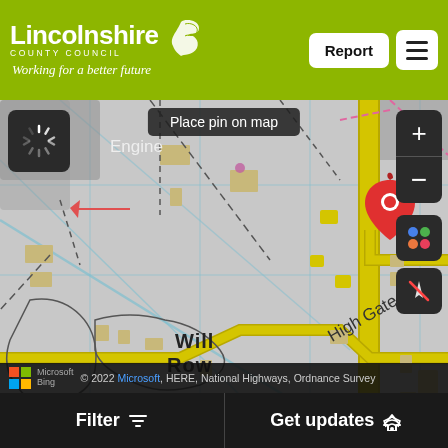Lincolnshire County Council — Working for a better future
[Figure (map): Ordnance Survey style map showing area around Will Row and High Gate, with a red location pin marker. Yellow roads, grey land, blue grid lines, dashed footpaths visible. Map labels: Engine, High Gate, Will Row, PH. Controls: loading spinner top-left, Place pin on map bar top-center, zoom +/- top-right, satellite/layer toggle buttons right-side.]
© 2022 Microsoft, HERE, National Highways, Ordnance Survey
Filter     Get updates